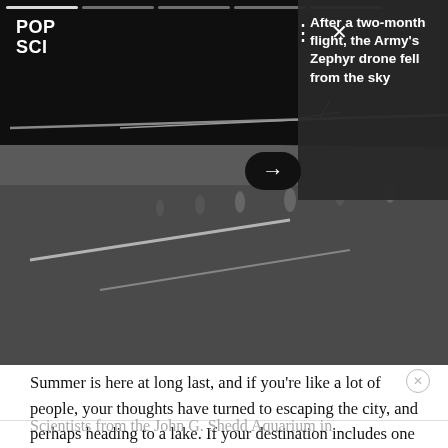[Figure (screenshot): Darkened runway scene at night with a large drone (Zephyr) on a runway, silhouettes of people visible. Overlaid with POP SCI logo, three-dots menu icon, X close icon, and a right-side dark card showing article preview text. Progress bar segments at top.]
POP SCI
After a two-month flight, the Army's Zephyr drone fell from the sky
Summer is here at long last, and if you're like a lot of people, your thoughts have turned to escaping the city, and perhaps heading to a lake. If your destination includes one of the Great Lakes, you might consider doing a bit of citizen science on the side.
Scientists from the John G. Shedd Aquarium in